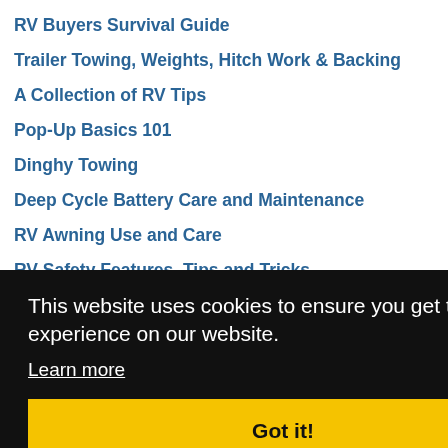RV Buyers Survival Guide
Trailer Towing, Weights, Hitch Work & Backing
A Collection of RV Tips
Pop-Up Basics 101
Dinghy Towing
Deep Cycle Battery Care and Maintenance
RV Awning Use and Care
RV Safety Features, Tips and Tricks
RV Care and Maintenance
RV Campground Basics
This website uses cookies to ensure you get the best experience on our website.
Learn more
Got it!
[Figure (photo): Dark scenic photo strip at bottom, possibly mountains/landscape with a Discovery channel logo overlay]